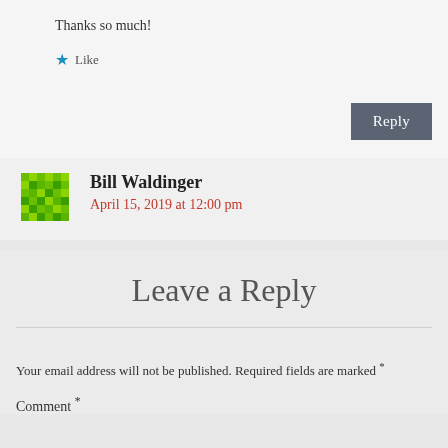Thanks so much!
★ Like
Reply
Bill Waldinger
April 15, 2019 at 12:00 pm
Leave a Reply
Your email address will not be published. Required fields are marked *
Comment *